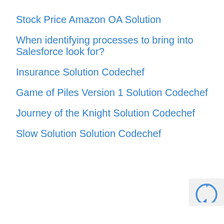Stock Price Amazon OA Solution
When identifying processes to bring into Salesforce look for?
Insurance Solution Codechef
Game of Piles Version 1 Solution Codechef
Journey of the Knight Solution Codechef
Slow Solution Solution Codechef
[Figure (logo): reCAPTCHA logo icon — blue arrow/reload symbol]